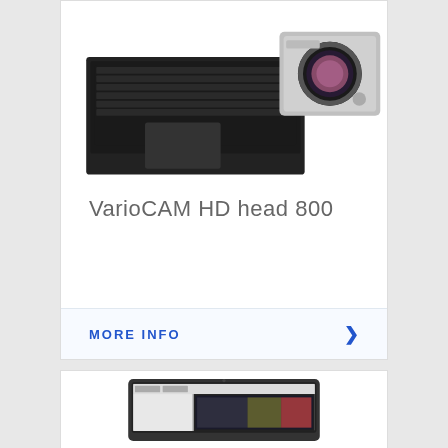[Figure (photo): Photo of VarioCAM HD head 800 thermal camera with laptop computer. Camera has a large circular lens visible.]
VarioCAM HD head 800
MORE INFO
[Figure (screenshot): Screenshot of a laptop computer showing thermal imaging software with camera feed]